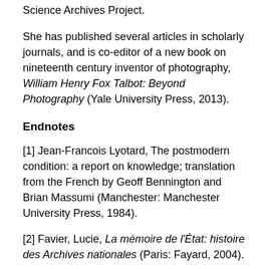Science Archives Project.
She has published several articles in scholarly journals, and is co-editor of a new book on nineteenth century inventor of photography, William Henry Fox Talbot: Beyond Photography (Yale University Press, 2013).
Endnotes
[1] Jean-Francois Lyotard, The postmodern condition: a report on knowledge; translation from the French by Geoff Bennington and Brian Massumi (Manchester: Manchester University Press, 1984).
[2] Favier, Lucie, La mémoire de l'État: histoire des Archives nationales (Paris: Fayard, 2004).
[3] Hilary Jenkinson, A Manual of Archive Administration (Oxford: Clarendon Press, 1922; revised editions 1937...